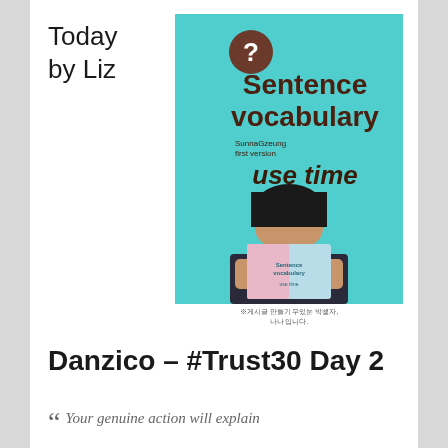Today
by Liz
[Figure (photo): Book cover for 'Sentence vocabulary use time' by SunnaGzeung, first version, with a person holding the book in front of their face against a teal background. Below is a Korean text caption.]
Korean text caption below the book image
Danzico – #Trust30 Day 2
“ Your genuine action will explain